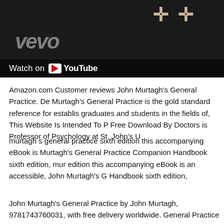[Figure (screenshot): YouTube video thumbnail showing a dark image with two crosses and a 'Watch on YouTube' bar at the bottom, with VEVO watermark]
Amazon.com Customer reviews John Murtagh's General Practice. De Murtagh's General Practice is the gold standard reference for establis graduates and students in the fields of, This Website Is Intended To P Free Download By Doctors is Professor of Psychology at St. John's U
murtagh s general practice sixth edition this accompanying eBook is Murtagh's General Practice Companion Handbook sixth edition, mur edition this accompanying eBook is an accessible, John Murtagh's G Handbook sixth edition,
John Murtagh's General Practice by John Murtagh, 9781743760031, with free delivery worldwide. General Practice Companion Handboa